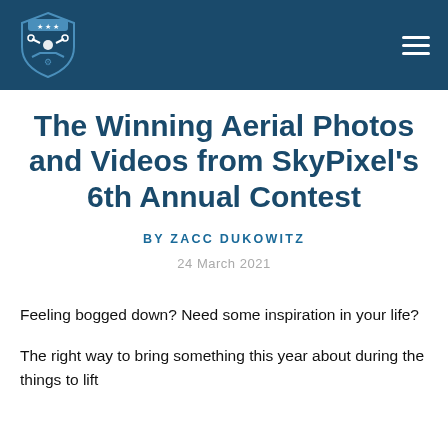UAV Coach (logo) | navigation menu
The Winning Aerial Photos and Videos from SkyPixel's 6th Annual Contest
BY ZACC DUKOWITZ
24 March 2021
Feeling bogged down? Need some inspiration in your life?
The right way to bring something this year about during the things to lift